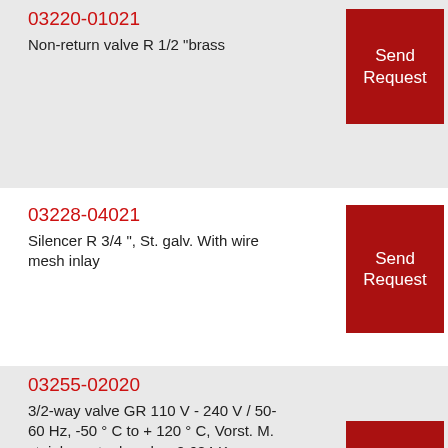03220-01021
Non-return valve R 1/2 "brass
Send Request
03228-04021
Silencer R 3/4 ", St. galv. With wire mesh inlay
Send Request
03255-02020
3/2-way valve GR 110 V - 240 V / 50-60 Hz, -50 ° C to + 120 ° C, Vorst. M. stainless steel anchor 0.684 Kg
Send Request
03255-02074
Directional Control Valve, 3/2 Way Directional Control Valve
Send Request